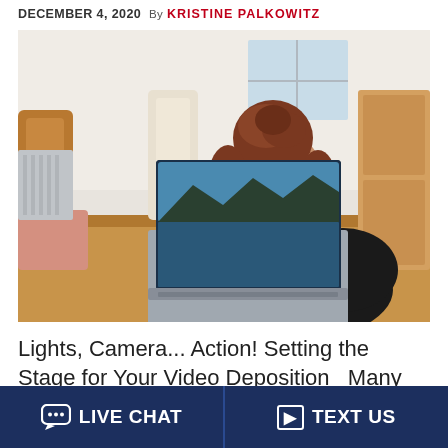DECEMBER 4, 2020  By KRISTINE PALKOWITZ
[Figure (photo): Woman with curly hair up in a bun, wearing a black top, sitting at a wooden dining table viewed from behind, using a laptop with a landscape image on the screen. Wooden chairs and a radiator visible in the background.]
Lights, Camera... Action! Setting the Stage for Your Video Deposition   Many
LIVE CHAT   TEXT US